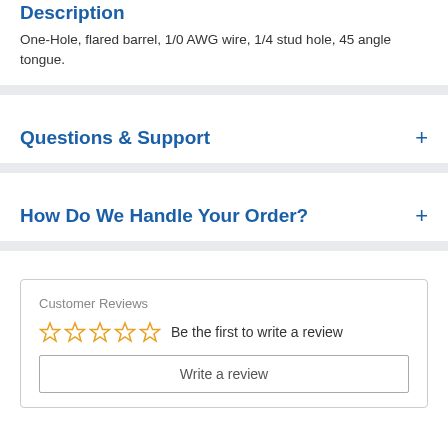Description
One-Hole, flared barrel, 1/0 AWG wire, 1/4 stud hole, 45 angle tongue.
Questions & Support
How Do We Handle Your Order?
Customer Reviews
Be the first to write a review
Write a review